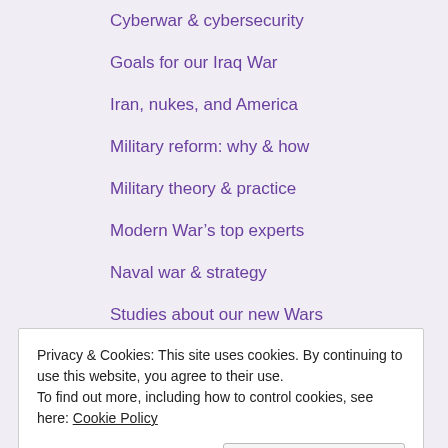Cyberwar & cybersecurity
Goals for our Iraq War
Iran, nukes, and America
Military reform: why & how
Military theory & practice
Modern War's top experts
Naval war & strategy
Studies about our new Wars
Peak Oil & Energy: posts
Peak oil & energy: studies
Science & Climate posts
Privacy & Cookies: This site uses cookies. By continuing to use this website, you agree to their use.
To find out more, including how to control cookies, see here: Cookie Policy
Science & Climate: posts